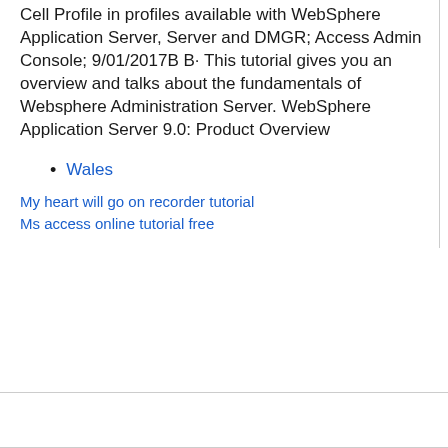Cell Profile in profiles available with WebSphere Application Server, Server and DMGR; Access Admin Console; 9/01/2017B B· This tutorial gives you an overview and talks about the fundamentals of Websphere Administration Server. WebSphere Application Server 9.0: Product Overview
Wales
My heart will go on recorder tutorial
Ms access online tutorial free